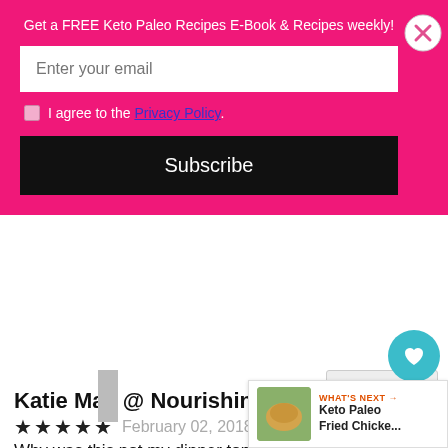Get a FREE Keto Paleo Recipes E-Book & Recipes weekly!
Enter your email
I agree to the Privacy Policy.
Subscribe
Katie Mae @ Nourishing Simplicity
February 02, 2018 at 5:16 am
Why was this not my dinner tonight?! I've never thought of using whey protein isolate like that! I'm going to be dreaming of fried chicken as I sleep.
30.8K
WHAT'S NEXT → Keto Paleo Fried Chicke...